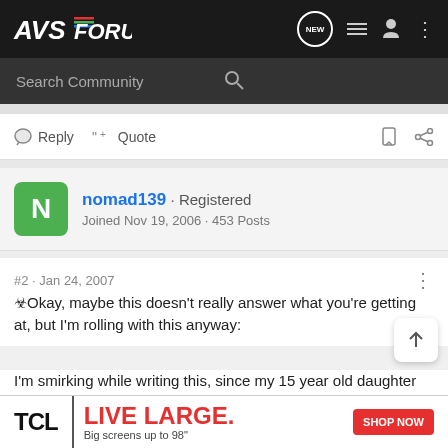AVS FORUM
Search Community
Reply  Quote
nomad139 · Registered
Joined Nov 19, 2006 · 453 Posts
#2 · Jan 24, 2007
Okay, maybe this doesn't really answer what you're getting at, but I'm rolling with this anyway:
I'm smirking while writing this, since my 15 year old daughter was watching product